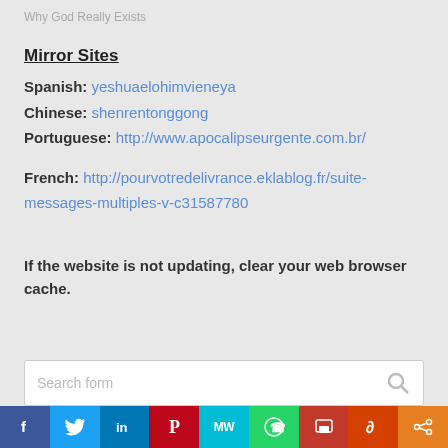Why God Really Exists
Mirror Sites
Spanish: yeshuaelohimvieneya
Chinese: shenrentonggong
Portuguese: http://www.apocalipseurgente.com.br/
French: http://pourvotredelivrance.eklablog.fr/suite-messages-multiples-v-c31587780
If the website is not updating, clear your web browser cache.